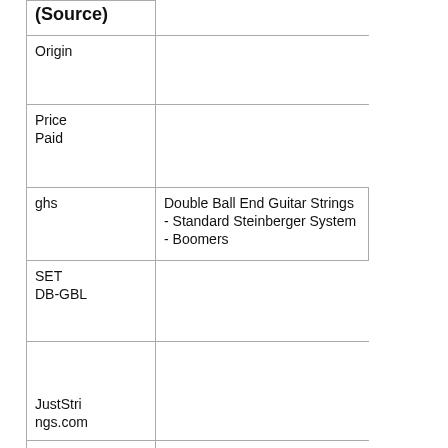| (Source) |  |
| Origin |  |
| Price Paid |  |
| ghs | Double Ball End Guitar Strings - Standard Steinberger System - Boomers |
| SET DB-GBL |  |
| JustStrings.com |  |
| Made in USA |  |